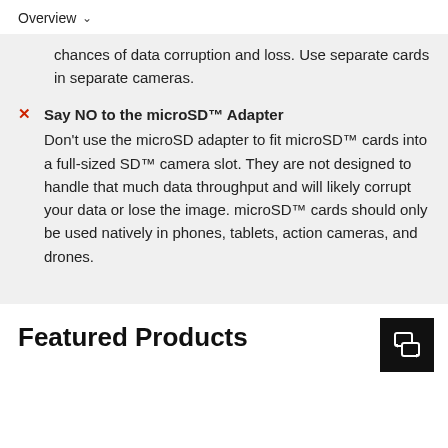Overview
chances of data corruption and loss. Use separate cards in separate cameras.
Say NO to the microSD™ Adapter
Don't use the microSD adapter to fit microSD™ cards into a full-sized SD™ camera slot. They are not designed to handle that much data throughput and will likely corrupt your data or lose the image. microSD™ cards should only be used natively in phones, tablets, action cameras, and drones.
Featured Products